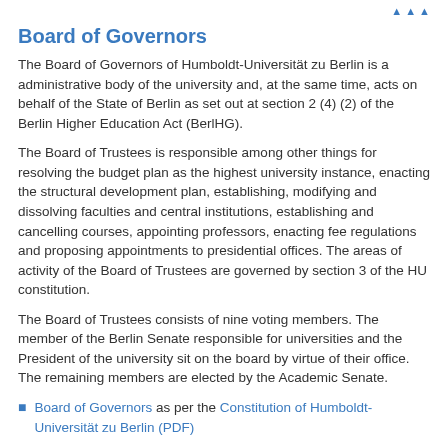Board of Governors
The Board of Governors of Humboldt-Universität zu Berlin is a administrative body of the university and, at the same time, acts on behalf of the State of Berlin as set out at section 2 (4) (2) of the Berlin Higher Education Act (BerlHG).
The Board of Trustees is responsible among other things for resolving the budget plan as the highest university instance, enacting the structural development plan, establishing, modifying and dissolving faculties and central institutions, establishing and cancelling courses, appointing professors, enacting fee regulations and proposing appointments to presidential offices. The areas of activity of the Board of Trustees are governed by section 3 of the HU constitution.
The Board of Trustees consists of nine voting members. The member of the Berlin Senate responsible for universities and the President of the university sit on the board by virtue of their office. The remaining members are elected by the Academic Senate.
Board of Governors as per the Constitution of Humboldt-Universität zu Berlin (PDF)
Academic Council
The Academic Council is the highest governing body of the university. Upon the proposal of the Board of Trustees, it elects the members of the President's office, takes decisions affecting the